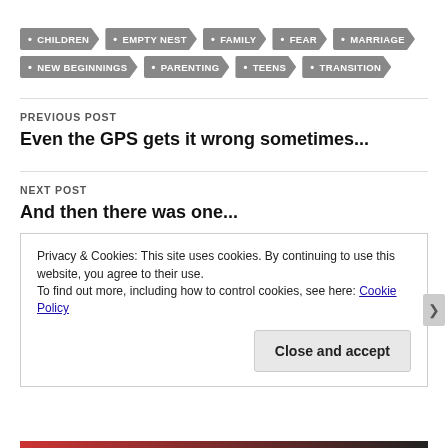CHILDREN
EMPTY NEST
FAMILY
FEAR
MARRIAGE
NEW BEGINNINGS
PARENTING
TEENS
TRANSITION
PREVIOUS POST
Even the GPS gets it wrong sometimes...
NEXT POST
And then there was one...
Privacy & Cookies: This site uses cookies. By continuing to use this website, you agree to their use.
To find out more, including how to control cookies, see here: Cookie Policy
Close and accept